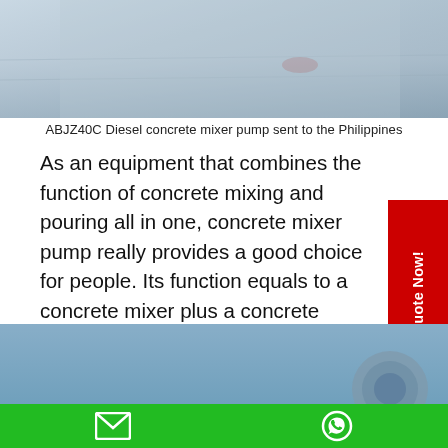[Figure (photo): Top portion of ABJZ40C Diesel concrete mixer pump, blue-toned construction equipment photo, cropped showing upper section.]
ABJZ40C Diesel concrete mixer pump sent to the Philippines
As an equipment that combines the function of concrete mixing and pouring all in one, concrete mixer pump really provides a good choice for people. Its function equals to a concrete mixer plus a concrete pump. It is cost effective to use a concrete mixer pump to accomplish the construction work of on site concrete mixing and pouring.
[Figure (photo): Bottom portion of another concrete mixer pump image, partially visible, blue sky and equipment.]
Get A Quote Now! [email icon] [whatsapp icon]